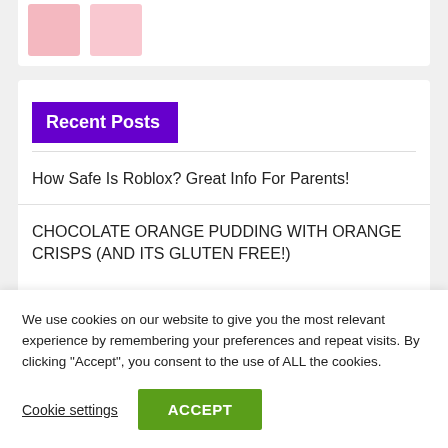[Figure (photo): Partial view of two pink thumbnail images at top of card]
Recent Posts
How Safe Is Roblox? Great Info For Parents!
CHOCOLATE ORANGE PUDDING WITH ORANGE CRISPS (AND ITS GLUTEN FREE!)
We use cookies on our website to give you the most relevant experience by remembering your preferences and repeat visits. By clicking “Accept”, you consent to the use of ALL the cookies.
Cookie settings
ACCEPT